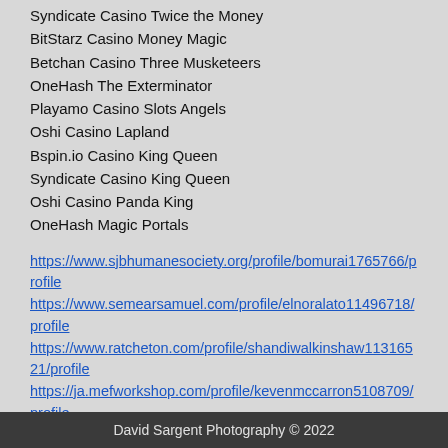Syndicate Casino Twice the Money
BitStarz Casino Money Magic
Betchan Casino Three Musketeers
OneHash The Exterminator
Playamo Casino Slots Angels
Oshi Casino Lapland
Bspin.io Casino King Queen
Syndicate Casino King Queen
Oshi Casino Panda King
OneHash Magic Portals
https://www.sjbhumanesociety.org/profile/bomurai1765766/profile https://www.semearsamuel.com/profile/elnoralato11496718/profile https://www.ratcheton.com/profile/shandiwalkinshaw11316521/profile https://ja.mefworkshop.com/profile/kevenmccarron5108709/profile
David Sargent Photography © 2022